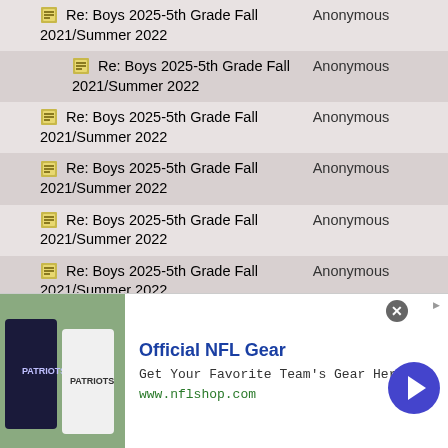| Topic | Author |
| --- | --- |
| Re: Boys 2025-5th Grade Fall 2021/Summer 2022 | Anonymous |
| Re: Boys 2025-5th Grade Fall 2021/Summer 2022 | Anonymous |
| Re: Boys 2025-5th Grade Fall 2021/Summer 2022 | Anonymous |
| Re: Boys 2025-5th Grade Fall 2021/Summer 2022 | Anonymous |
| Re: Boys 2025-5th Grade Fall 2021/Summer 2022 | Anonymous |
| Re: Boys 2025-5th Grade Fall 2021/Summer 2022 | Anonymous |
| Re: Boys 2025-5th Grade Fall 2021/Summer 2022 | Anonymous |
| Re: Boys 2025-5th Grade Fall 2021/Summer 2022 | Anonymous |
[Figure (other): Advertisement banner for Official NFL Gear showing NFL jerseys, text 'Official NFL Gear', 'Get Your Favorite Team's Gear Here', 'www.nflshop.com', with a blue arrow button and close button]